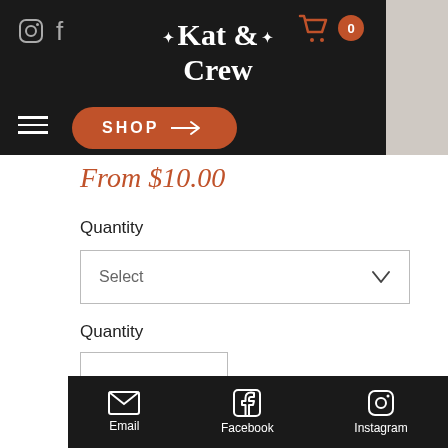[Figure (screenshot): Kat & Crew e-commerce website header with dark background, social icons, logo, cart icon, hamburger menu, and orange SHOP button]
From $10.00
Quantity
Select
Quantity
1
Email  Facebook  Instagram